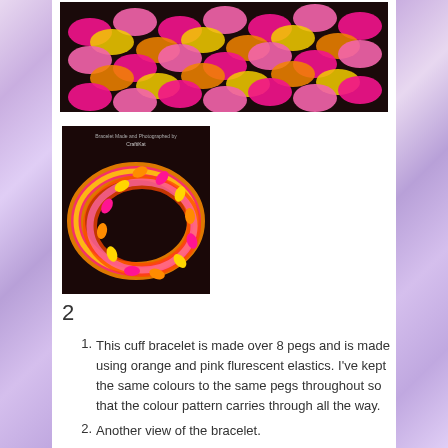[Figure (photo): Close-up top view of a rubber band loom cuff bracelet showing a woven pattern in pink/magenta and yellow/orange fluorescent colours on a dark background.]
[Figure (photo): Side view of the completed loom band cuff bracelet shown as a loop/ring on a dark background, with a watermark reading 'Bracelet Made and Photographed by CraftiKat'. The bracelet shows orange, pink, and yellow fluorescent elastic bands in a chain pattern.]
2
This cuff bracelet is made over 8 pegs and is made using orange and pink flurescent elastics.  I've kept the same colours to the same pegs throughout so that the colour pattern carries through all the way.
Another view of the bracelet.